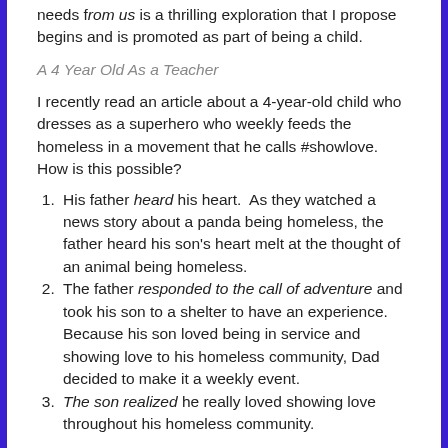needs from us is a thrilling exploration that I propose begins and is promoted as part of being a child.
A 4 Year Old As a Teacher
I recently read an article about a 4-year-old child who dresses as a superhero who weekly feeds the homeless in a movement that he calls #showlove.  How is this possible?
His father heard his heart.  As they watched a news story about a panda being homeless, the father heard his son's heart melt at the thought of an animal being homeless.
The father responded to the call of adventure and took his son to a shelter to have an experience.  Because his son loved being in service and showing love to his homeless community, Dad decided to make it a weekly event.
The son realized he really loved showing love throughout his homeless community.